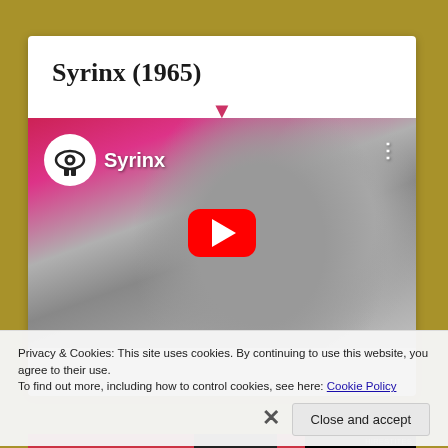Syrinx (1965)
[Figure (screenshot): YouTube video thumbnail for 'Syrinx' showing a classical sculpture in black and white with a pink/red overlay and play button. Channel logo with eye icon and 'Syrinx' label visible at top left.]
Privacy & Cookies: This site uses cookies. By continuing to use this website, you agree to their use.
To find out more, including how to control cookies, see here: Cookie Policy
Close and accept